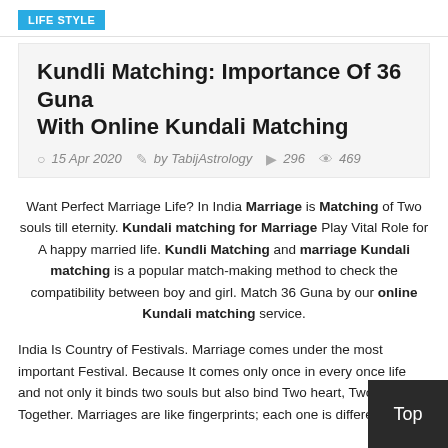LIFE STYLE
Kundli Matching: Importance Of 36 Guna With Online Kundali Matching
15 Apr 2020  by TabijAstrology  296  469
Want Perfect Marriage Life? In India Marriage is Matching of Two souls till eternity. Kundali matching for Marriage Play Vital Role for A happy married life. Kundli Matching and marriage Kundali matching is a popular match-making method to check the compatibility between boy and girl. Match 36 Guna by our online Kundali matching service.
India Is Country of Festivals. Marriage comes under the most important Festival. Because It comes only once in every once life and not only it binds two souls but also bind Two heart, Two Families Together. Marriages are like fingerprints; each one is different...